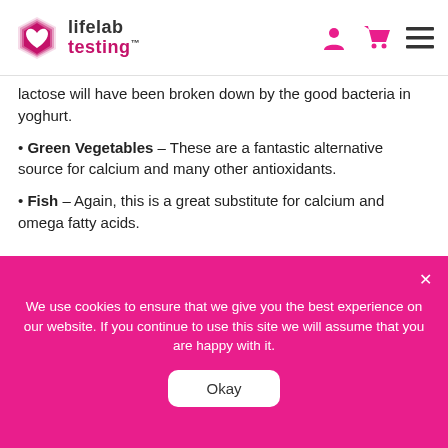lifelab testing
lactose will have been broken down by the good bacteria in yoghurt.
Green Vegetables – These are a fantastic alternative source for calcium and many other antioxidants.
Fish – Again, this is a great substitute for calcium and omega fatty acids.
We use cookies to ensure that we give you the best experience on our website. If you continue to use this site we will assume that you are happy with it. Okay